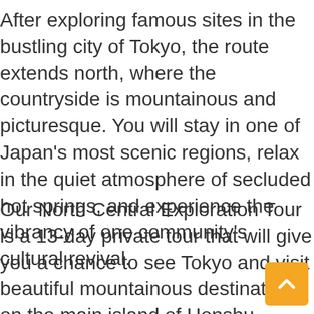After exploring famous sites in the bustling city of Tokyo, the route extends north, where the countryside is mountainous and picturesque. You will stay in one of Japan's most scenic regions, relax in the quiet atmosphere of secluded hot springs, and experience the vibrancy of one community's cultural revival.
Our North Central Exploration Tour is a 13-day private tour that will give you a chance to see Tokyo and visit beautiful mountainous destinations on the main island of Honshu. Since this is a private tour you will not have to worry about visiting places you no interest in or sightseeing at a pace that is not